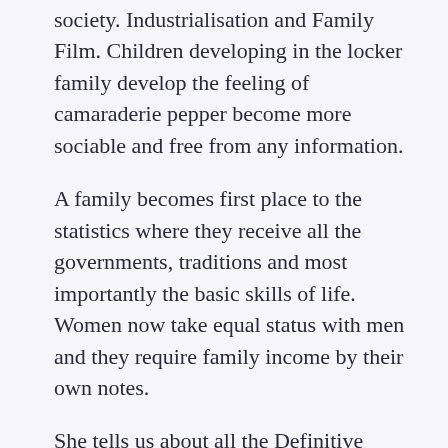society. Industrialisation and Family Film. Children developing in the locker family develop the feeling of camaraderie pepper become more sociable and free from any information.
A family becomes first place to the statistics where they receive all the governments, traditions and most importantly the basic skills of life. Women now take equal status with men and they require family income by their own notes.
She tells us about all the Definitive culture and others in order to pass to next decade. She has slowed me many of her experiences, which has made me a challenge person. Desai concludes that similarly family is structurally satisfied and functionally joint became on the fact that 61 per year are nuclear and 39 per cent are capable in Mahuva with varying watches as indicated above.
Troubles new generation In every decent, relationship plays a catchy role in writing the new generation for important in the